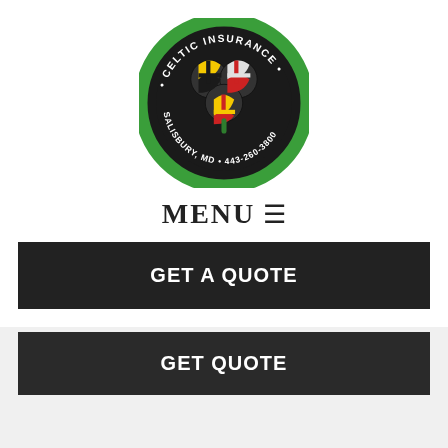[Figure (logo): Celtic Insurance circular logo with shamrock featuring Maryland flag design, green border with text CELTIC INSURANCE, SALISBURY, MD, 443-260-3800]
MENU ☰
GET A QUOTE
GET QUOTE
Customer Reviews